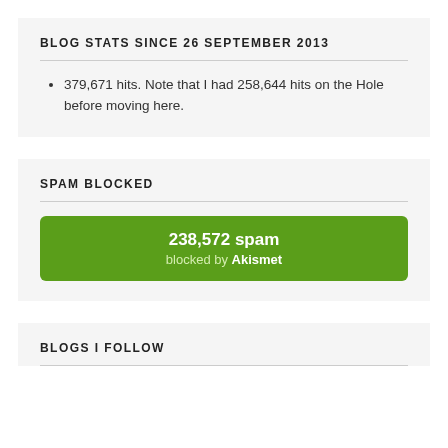BLOG STATS SINCE 26 SEPTEMBER 2013
379,671 hits. Note that I had 258,644 hits on the Hole before moving here.
SPAM BLOCKED
238,572 spam blocked by Akismet
BLOGS I FOLLOW